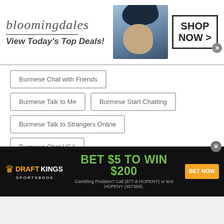[Figure (screenshot): Bloomingdale's advertisement banner: logo, 'View Today's Top Deals!', model photo, 'SHOP NOW >' button]
Burmese Chat with Friends
Burmese Talk to Me
Burmese Start Chatting
Burmese Talk to Strangers Online
Burmese Chat USA
Burmese Free Phone Chat
Burmese Make Friends
Burmese Chat Gratis
Burmese Chat Line
Burmese Cam Chat
[Figure (screenshot): DraftKings Sportsbook advertisement: 'BET $5 TO WIN $200', 'BET NOW' button, gambling disclaimer]